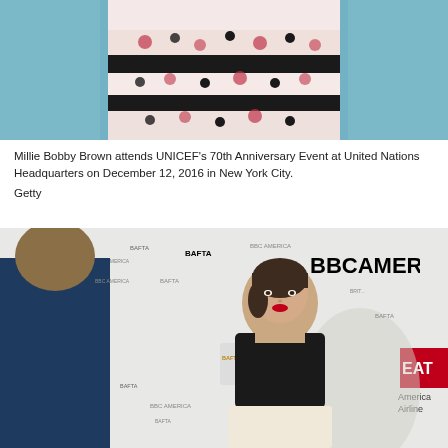[Figure (photo): Top portion of a photo showing a person in a black and white patterned dress with floral/dot motifs against a blue background, cropped at the waist]
Millie Bobby Brown attends UNICEF's 70th Anniversary Event at United Nations Headquarters on December 12, 2016 in New York City.
Getty
[Figure (photo): Millie Bobby Brown posing at a BAFTA/BBC America event step-and-repeat backdrop, wearing a black sleeveless top and cream/white skirt, short dark hair, red lipstick, smiling at the camera; another person in dark clothing partially visible on the left]